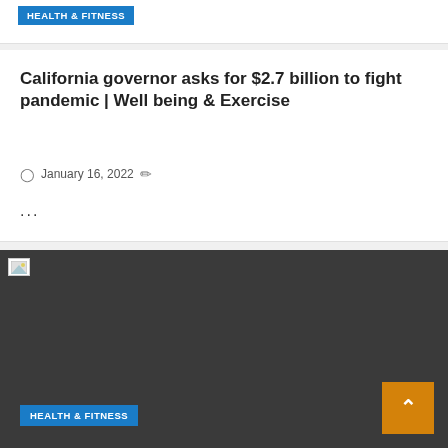HEALTH & FITNESS
California governor asks for $2.7 billion to fight pandemic | Well being & Exercise
January 16, 2022
...
[Figure (photo): Dark image placeholder with broken image icon in top-left corner]
HEALTH & FITNESS